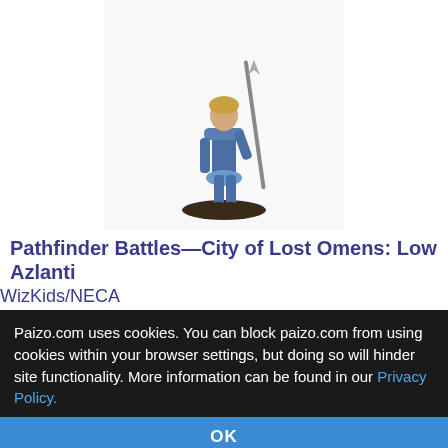[Figure (photo): Painted tabletop miniature figure of a blue and white female warrior holding a trident/spear, mounted on a dark round base, photographed against white background]
Pathfinder Battles—City of Lost Omens: Low Azlanti
WizKids/NECA
Our Price: $5.00
Add to Cart
[Figure (photo): Painted tabletop miniature figure of a tan/brown gnoll or beast-creature in a crouching stance holding weapons, mounted on a dark round base, photographed against white background]
Paizo.com uses cookies. You can block paizo.com from using cookies within your browser settings, but doing so will hinder site functionality. More information can be found in our Privacy Policy.
OK